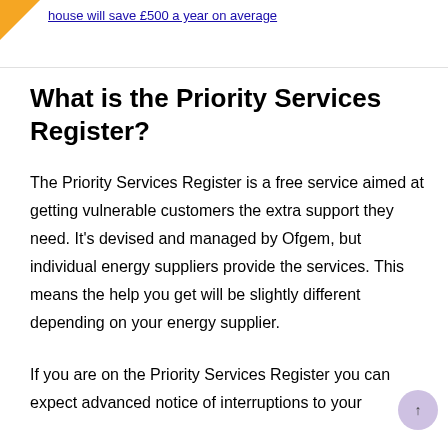house will save £500 a year on average
What is the Priority Services Register?
The Priority Services Register is a free service aimed at getting vulnerable customers the extra support they need. It's devised and managed by Ofgem, but individual energy suppliers provide the services. This means the help you get will be slightly different depending on your energy supplier.
If you are on the Priority Services Register you can expect advanced notice of interruptions to your